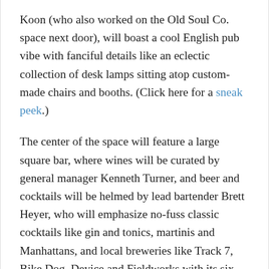Koon (who also worked on the Old Soul Co. space next door), will boast a cool English pub vibe with fanciful details like an eclectic collection of desk lamps sitting atop custom-made chairs and booths. (Click here for a sneak peek.)
The center of the space will feature a large square bar, where wines will be curated by general manager Kenneth Turner, and beer and cocktails will be helmed by lead bartender Brett Heyer, who will emphasize no-fuss classic cocktails like gin and tonics, martinis and Manhattans, and local breweries like Track 7, Bike Dog, Device and Fieldworks with its six rotating tap handles.